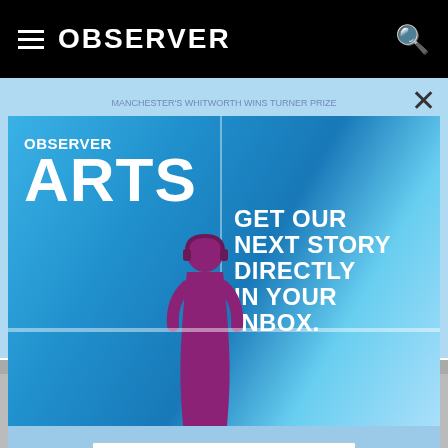OBSERVER
[Figure (screenshot): Observer Arts newsletter signup modal overlay on a light blue background. Left panel shows 'OBSERVER ARTS' text with a silhouette figure. Right panel shows 'GET OUR NEXT STORY DIRECTLY IN YOUR INBOX.' text. Below, an email input field and Sign Up button.]
Email Address
Sign Up
By submitting your email address you agree to Observer's Privacy Policy and Terms of service.
Director of the Whitworth, Maria Balshaw speaks as the museum wins the U.K.'s largest arts prize. (Photo